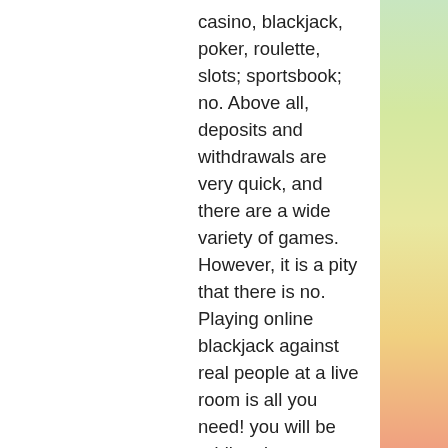casino, blackjack, poker, roulette, slots; sportsbook; no. Above all, deposits and withdrawals are very quick, and there are a wide variety of games. However, it is a pity that there is no. Playing online blackjack against real people at a live room is all you need! you will be addicted to bitstarz's blackjack games
Although American football is specific to the continent, it still has a decent following and is available at most online betting sites. A Bitcoin sportsbook that covers the sport will have odds for the NFL, which is the most popular football league, . Punters can also bet on college football.
Bitstarz slots, bitstarz casino скачать через торрент
The ability to transact freely and with minimal